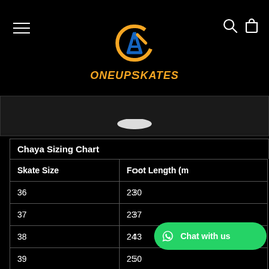[Figure (logo): OneUpSkates logo with orange circular icon and blue triangle, orange italic text ONEUPSKATES]
[Figure (photo): Dark image strip showing partial product photo with white curved shape at bottom center]
| Skate Size | Foot Length (m |
| --- | --- |
| 36 | 230 |
| 37 | 237 |
| 38 | 243 |
| 39 | 250 |
| 40 |  |
| 41 | 264 |